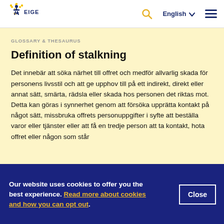[Figure (logo): EIGE European Institute for Gender Equality logo — blue star with yellow stars and figure]
GLOSSARY & THESAURUS
Definition of stalkning
Det innebär att söka närhet till offret och medför allvarlig skada för personens livsstil och att ge upphov till på ett indirekt, direkt eller annat sätt, smärta, rädsla eller skada hos personen det riktas mot. Detta kan göras i synnerhet genom att försöka upprätta kontakt på något sätt, missbruka offrets personuppgifter i syfte att beställa varor eller tjänster eller att få en tredje person att ta kontakt, hota offret eller någon som står
Our website uses cookies to offer you the best experience. Read more about cookies and how you can opt out.